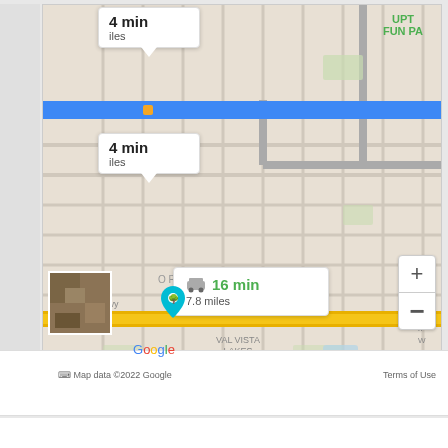[Figure (screenshot): Google Maps screenshot showing driving directions. Two overlapping route tooltips at top showing '4 min' each with mileage. A main driving tooltip shows '16 min, 7.8 miles'. Map shows street grid with blue route bar, yellow highway (Superstition Fwy, route 60), zoom controls (+/-), satellite thumbnail, location pin, Google logo, and 'Map data ©2022 Google Terms of Use' footer. Labels visible: 'UPT FUN PA' (green, top right), 'PARK', 'ition Fwy', '60', 'VAL VISTA LAKES'.]